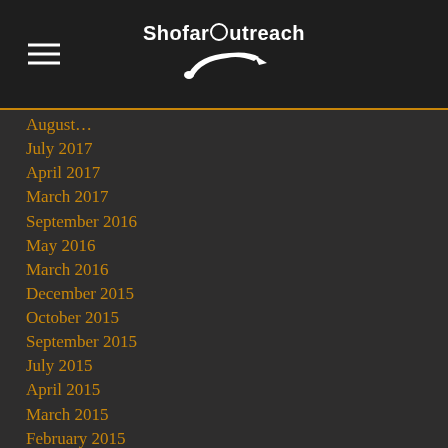Shofar Outreach
July 2017
April 2017
March 2017
September 2016
May 2016
March 2016
December 2015
October 2015
September 2015
July 2015
April 2015
March 2015
February 2015
January 2015
Categories